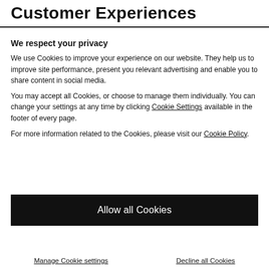Customer Experiences
We respect your privacy
We use Cookies to improve your experience on our website. They help us to improve site performance, present you relevant advertising and enable you to share content in social media.
You may accept all Cookies, or choose to manage them individually. You can change your settings at any time by clicking Cookie Settings available in the footer of every page.
For more information related to the Cookies, please visit our Cookie Policy.
Allow all Cookies
Manage Cookie settings
Decline all Cookies